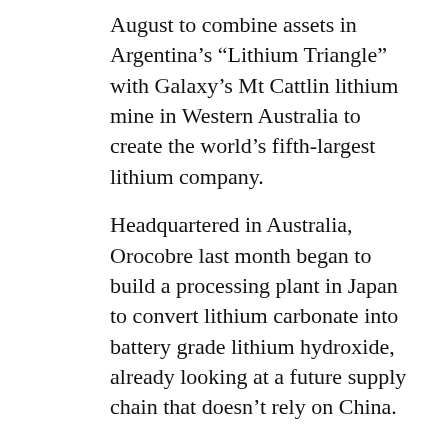August to combine assets in Argentina's “Lithium Triangle” with Galaxy’s Mt Cattlin lithium mine in Western Australia to create the world’s fifth-largest lithium company.
Headquartered in Australia, Orocobre last month began to build a processing plant in Japan to convert lithium carbonate into battery grade lithium hydroxide, already looking at a future supply chain that doesn’t rely on China.
More ambitious emissions reduction targets in Europe and North America have seen governments ramp up subsidies for electric cars to help take petrol and diesel vehicles off the road.
Canada plans to phase out sales of new petrol and diesel-powered cars and light trucks by 2035 as part of its plans to achieve net zero emissions by 2050, and has state and federal subsidies for buyers.